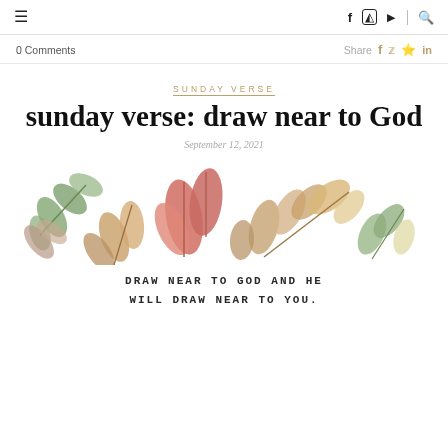≡  f  ⊙  ▶  🔍
0 Comments   Share  f  🐦  ⊛  in
SUNDAY VERSE
sunday verse: draw near to God
September 12, 2021
[Figure (illustration): Watercolor autumn leaves arrangement with green, red, and tan/brown leaves spread horizontally]
DRAW NEAR TO GOD AND HE WILL DRAW NEAR TO YOU.